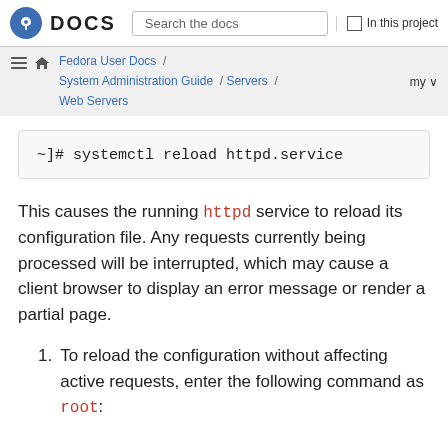Fedora DOCS | Search the docs | In this project
Fedora User Docs / System Administration Guide / Servers / Web Servers | my
~]# systemctl reload httpd.service
This causes the running httpd service to reload its configuration file. Any requests currently being processed will be interrupted, which may cause a client browser to display an error message or render a partial page.
To reload the configuration without affecting active requests, enter the following command as root: